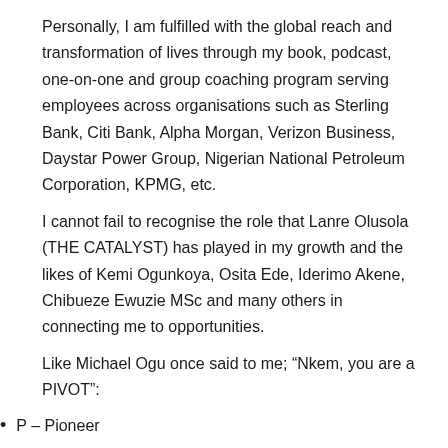Personally, I am fulfilled with the global reach and transformation of lives through my book, podcast, one-on-one and group coaching program serving employees across organisations such as Sterling Bank, Citi Bank, Alpha Morgan, Verizon Business, Daystar Power Group, Nigerian National Petroleum Corporation, KPMG, etc.
I cannot fail to recognise the role that Lanre Olusola (THE CATALYST) has played in my growth and the likes of Kemi Ogunkoya, Osita Ede, Iderimo Akene, Chibueze Ewuzie MSc and many others in connecting me to opportunities.
Like Michael Ogu once said to me; “Nkem, you are a PIVOT”:
P – Pioneer
I – Inspiration
V – Visionary
O – Original